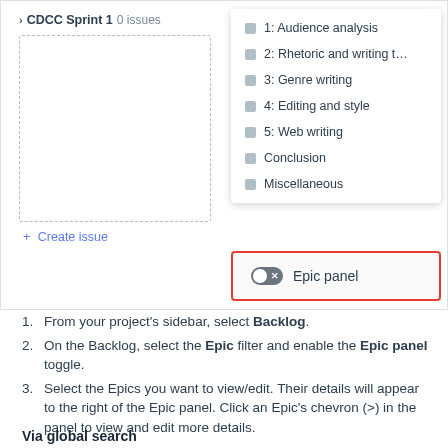[Figure (screenshot): GitLab-style project board screenshot showing CDCC Sprint 1 with 0 issues, a dashed empty issue area, a dropdown menu listing 7 items (1: Audience analysis, 2: Rhetoric and writing t..., 3: Genre writing, 4: Editing and style, 5: Web writing, Conclusion, Miscellaneous), and an Epic panel toggle highlighted in red border]
From your project's sidebar, select Backlog.
On the Backlog, select the Epic filter and enable the Epic panel toggle.
Select the Epics you want to view/edit. Their details will appear to the right of the Epic panel. Click an Epic's chevron (>) in the panel to view and edit more details.
Via global search